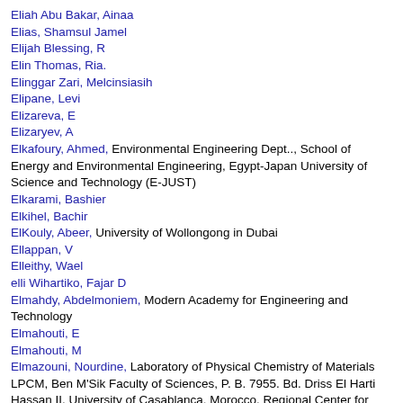Eliah Abu Bakar, Ainaa
Elias, Shamsul Jamel
Elijah Blessing, R
Elin Thomas, Ria.
Elinggar Zari, Melcinsiasih
Elipane, Levi
Elizareva, E
Elizaryev, A
Elkafoury, Ahmed, Environmental Engineering Dept.., School of Energy and Environmental Engineering, Egypt-Japan University of Science and Technology (E-JUST)
Elkarami, Bashier
Elkihel, Bachir
ElKouly, Abeer, University of Wollongong in Dubai
Ellappan, V
Elleithy, Wael
elli Wihartiko, Fajar D
Elmahdy, Abdelmoniem, Modern Academy for Engineering and Technology
Elmahouti, E
Elmahouti, M
Elmazouni, Nourdine, Laboratory of Physical Chemistry of Materials LPCM, Ben M'Sik Faculty of Sciences, P. B. 7955. Bd. Driss El Harti Hassan II. University of Casablanca. Morocco. Regional Center for Education and Training Casablanca Anfa Bd BirAnzarane Casablanca. Morocco.
Elmekaty, Hamdy, mansoura university
Elmerzouki, K.